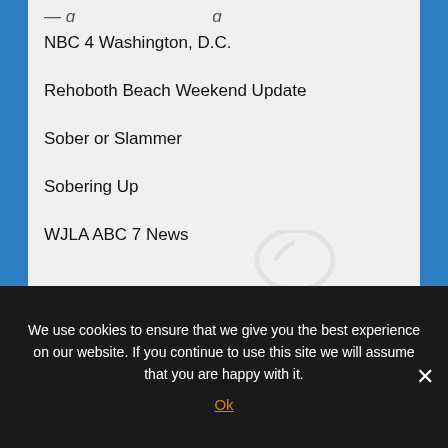NBC 4 Washington, D.C.
Rehoboth Beach Weekend Update
Sober or Slammer
Sobering Up
WJLA ABC 7 News
[Figure (illustration): Faint watermark illustration of a bell or award icon in the center-right of the content area]
We use cookies to ensure that we give you the best experience on our website. If you continue to use this site we will assume that you are happy with it.
Ok